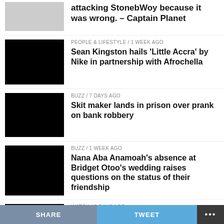attacking StonebWoy because it was wrong. – Captain Planet
PEOPLE & LIFESTYLE / 1 week ago
Sean Kingston hails 'Little Accra' by Nike in partnership with Afrochella
BUZZ / 7 days ago
Skit maker lands in prison over prank on bank robbery
BUZZ / 1 week ago
Nana Aba Anamoah's absence at Bridget Otoo's wedding raises questions on the status of their friendship
WATCH / 6 days ago
Fans Cannot Get Enough Of Acoustic Remix To Obiaa From
SHARE   TWEET   ...